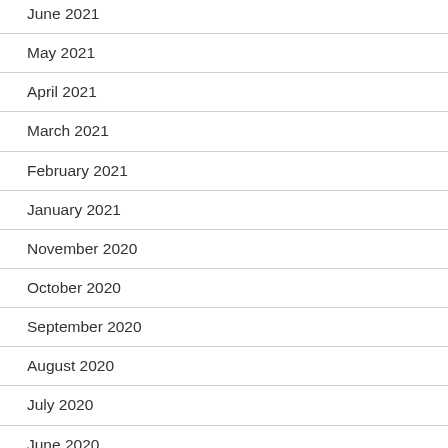June 2021
May 2021
April 2021
March 2021
February 2021
January 2021
November 2020
October 2020
September 2020
August 2020
July 2020
June 2020
May 2020
January 2020